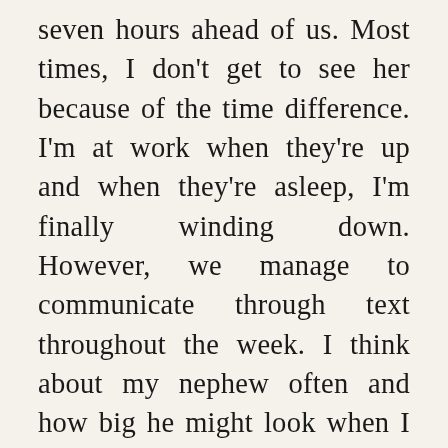seven hours ahead of us. Most times, I don't get to see her because of the time difference. I'm at work when they're up and when they're asleep, I'm finally winding down. However, we manage to communicate through text throughout the week. I think about my nephew often and how big he might look when I finally do see him. Some of the things my sister tells me make me so happy about how he has become such a wonderful young boy, and I'm